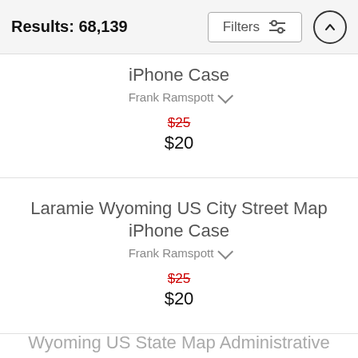Results: 68,139
iPhone Case
Frank Ramspott
$25 (strikethrough)
$20
Laramie Wyoming US City Street Map iPhone Case
Frank Ramspott
$25 (strikethrough)
$20
Wyoming US State Map Administrative